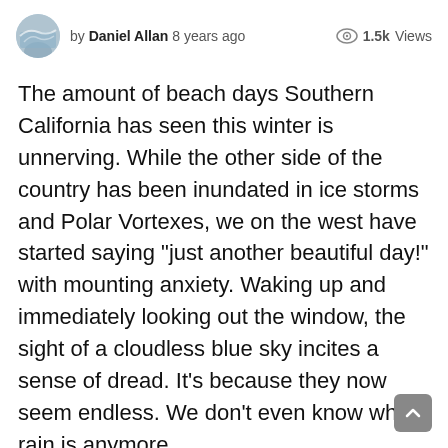by Daniel Allan  8 years ago  1.5k Views
The amount of beach days Southern California has seen this winter is unnerving. While the other side of the country has been inundated in ice storms and Polar Vortexes, we on the west have started saying “just another beautiful day!” with mounting anxiety. Waking up and immediately looking out the window, the sight of a cloudless blue sky incites a sense of dread. It’s because they now seem endless. We don’t even know what rain is anymore.
Here’s what Governor Jerry Brown had to say about the matter on January 17th this year: “I, Edmund G. Brown Jr., Governor of the State of California, in